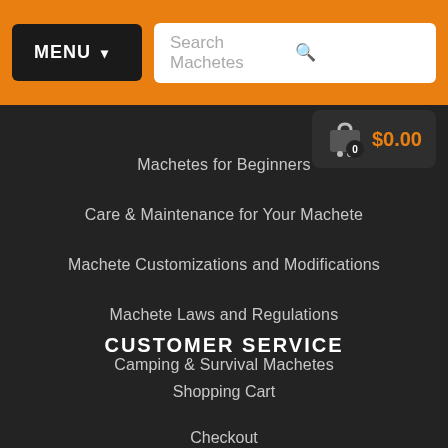MENU | Search Machetes | $0.00
Machetes for Beginners
Care & Maintenance for Your Machete
Machete Customizations and Modifications
Machete Laws and Regulations
Camping & Survival Machetes
CUSTOMER SERVICE
Shopping Cart
Checkout
Contact Us